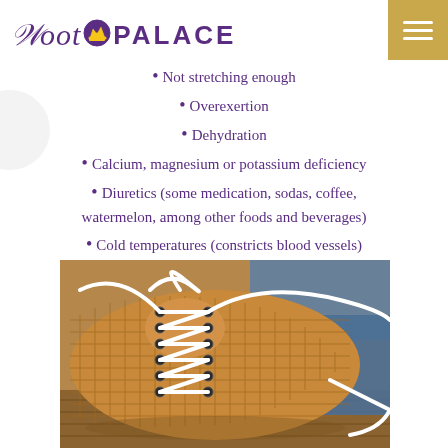Foot Palace
Not stretching enough
Overexertion
Dehydration
Calcium, magnesium or potassium deficiency
Diuretics (some medication, sodas, coffee, watermelon, among other foods and beverages)
Cold temperatures (constricts blood vessels)
Shoe support, size, and tightness
[Figure (photo): Close-up photo of a brown woven leather shoe with white laces on a wooden surface, with blue fabric visible in background]